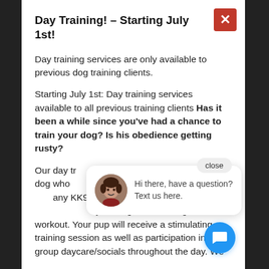Day Training! – Starting July 1st!
Day training services are only available to previous dog training clients.
Starting July 1st: Day training services available to all previous training clients Has it been a while since you've had a chance to train your dog? Is his obedience getting rusty?
Our day tr... dog who... any KK9 t... your dog'... give them a workout. Your pup will receive a stimulating training session as well as participation in our group daycare/socials throughout the day. We
[Figure (screenshot): Chat popup with avatar photo of a woman, text 'Hi there, have a question? Text us here.' and a close button, plus a blue chat icon button at bottom right.]